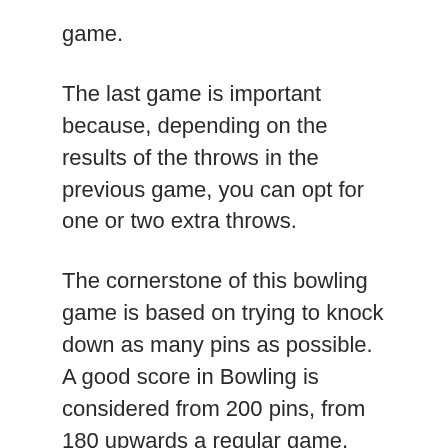game.
The last game is important because, depending on the results of the throws in the previous game, you can opt for one or two extra throws.
The cornerstone of this bowling game is based on trying to knock down as many pins as possible. A good score in Bowling is considered from 200 pins, from 180 upwards a regular game, from 180 downwards it can be viewed as an unsuccessful game.